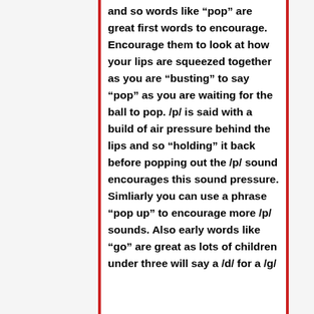and so words like “pop” are great first words to encourage. Encourage them to look at how your lips are squeezed together as you are “busting” to say “pop” as you are waiting for the ball to pop. /p/ is said with a build of air pressure behind the lips and so “holding” it back before popping out the /p/ sound encourages this sound pressure. Simliarly you can use a phrase “pop up” to encourage more /p/ sounds. Also early words like “go” are great as lots of children under three will say a /d/ for a /g/